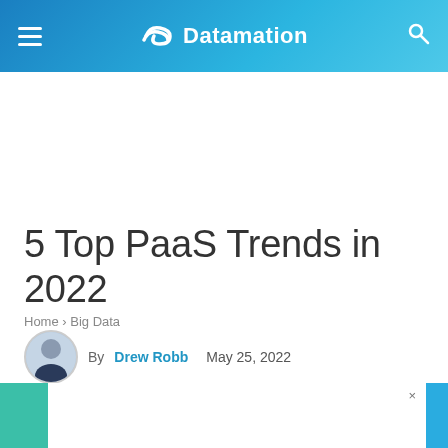Datamation
5 Top PaaS Trends in 2022
Home › Big Data
By Drew Robb   May 25, 2022
[Figure (other): Advertisement banner at bottom of page, teal/green background with white inner panel and close button (×)]